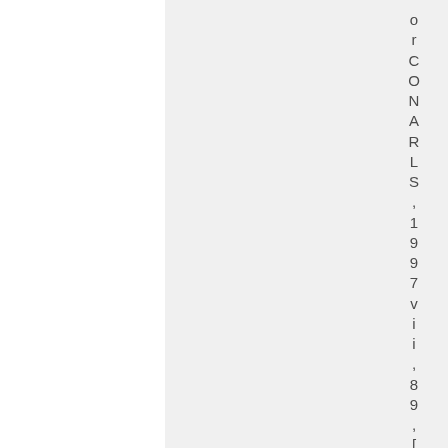or CONNARLS , 1997 vii , 89 , [32] pa